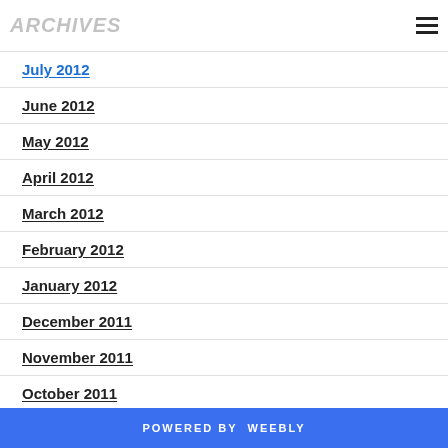ARCHIVES
July 2012
June 2012
May 2012
April 2012
March 2012
February 2012
January 2012
December 2011
November 2011
October 2011
September 2011
August 2011
July 2011
June 2011
May 2011
April 2011
POWERED BY weebly